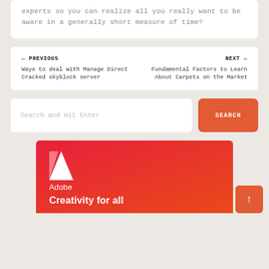experts so you can realize all you really want to be aware in a generally short measure of time?
← PREVIOUS
Ways to deal with Manage Direct Cracked skyblock server
NEXT →
Fundamental Factors to Learn About Carpets on the Market
Search and Hit Enter
SEARCH
[Figure (logo): Adobe logo banner with red gradient background, Adobe 'A' logo mark, Adobe wordmark, and partial tagline text at the bottom]